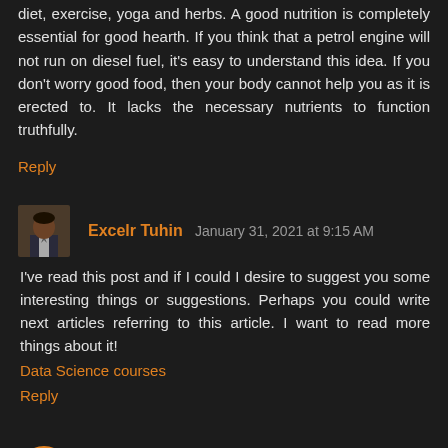diet, exercise, yoga and herbs. A good nutrition is completely essential for good hearth. If you think that a petrol engine will not run on diesel fuel, it's easy to understand this idea. If you don't worry good food, then your body cannot help you as it is erected to. It lacks the necessary nutrients to function truthfully.
Reply
Excelr Tuhin  January 31, 2021 at 9:15 AM
I've read this post and if I could I desire to suggest you some interesting things or suggestions. Perhaps you could write next articles referring to this article. I want to read more things about it!
Data Science courses
Reply
herbssolutionsbynature  February 16, 2021 at 1:03 AM
Natural Herbal Treatment for Lichen Planus can help reduce the itching and discomfort. Herbal Supplement may